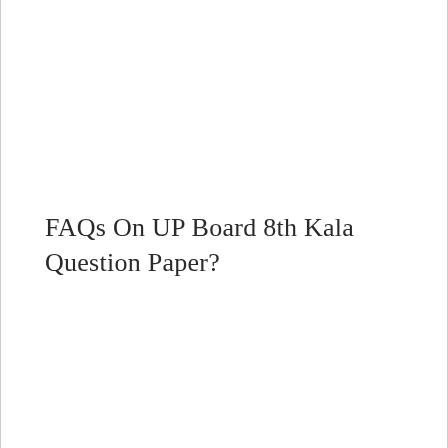FAQs On UP Board 8th Kala Question Paper?